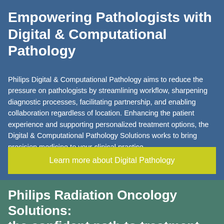Empowering Pathologists with Digital & Computational Pathology
Philips Digital & Computational Pathology aims to reduce the pressure on pathologists by streamlining workflow, sharpening diagnostic processes, facilitating partnership, and enabling collaboration regardless of location. Enhancing the patient experience and supporting personalized treatment options, the Digital & Computational Pathology Solutions works to bring precision medicine to your clinical practice.
Learn more about Digital Pathology
Philips Radiation Oncology Solutions: the confident path to treatment